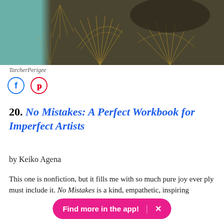[Figure (illustration): Book cover image with teal and dark background featuring gold botanical/leaf line art pattern]
TarcherPerigee
[Figure (infographic): Social share icons: Facebook (blue circle) and Pinterest (red circle)]
20. No Mistakes: A Perfect Workbook for Imperfect Artists
by Keiko Agena
This one is nonfiction, but it fills me with so much pure joy ever... ply must include it. No Mistakes is a kind, empathetic, inspiring
Find more in the app!